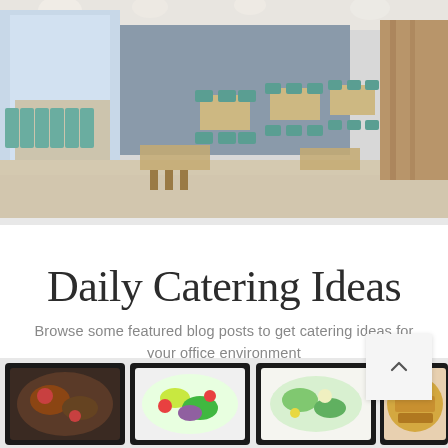[Figure (photo): Wide interior photo of a modern cafeteria/dining hall with teal/blue upholstered chairs and benches, light wood tables, pendant globe lights hanging from ceiling, large windows on the left, and a blue-grey accent wall in the background.]
Daily Catering Ideas
Browse some featured blog posts to get catering ideas for your office environment
[Figure (photo): Partial view of multiple black rectangular meal prep containers filled with various foods including salads, roasted meats, and side dishes, viewed from above on a light grey background.]